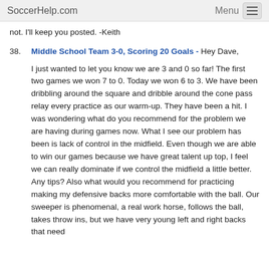SoccerHelp.com | Menu
not. I'll keep you posted. -Keith
38. Middle School Team 3-0, Scoring 20 Goals - Hey Dave, I just wanted to let you know we are 3 and 0 so far! The first two games we won 7 to 0. Today we won 6 to 3. We have been dribbling around the square and dribble around the cone pass relay every practice as our warm-up. They have been a hit. I was wondering what do you recommend for the problem we are having during games now. What I see our problem has been is lack of control in the midfield. Even though we are able to win our games because we have great talent up top, I feel we can really dominate if we control the midfield a little better. Any tips? Also what would you recommend for practicing making my defensive backs more comfortable with the ball. Our sweeper is phenomenal, a real work horse, follows the ball, takes throw ins, but we have very young left and right backs that need